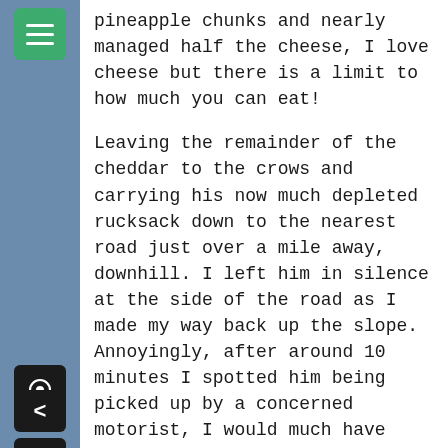pineapple chunks and nearly managed half the cheese, I love cheese but there is a limit to how much you can eat!
Leaving the remainder of the cheddar to the crows and carrying his now much depleted rucksack down to the nearest road just over a mile away, downhill. I left him in silence at the side of the road as I made my way back up the slope. Annoyingly, after around 10 minutes I spotted him being picked up by a concerned motorist, I would much have preferred him to have waited several hours if not days.
For some strange reason when I camped (on my own) at the side of Glaslyn, a small lake, I didn't feel at all hungry and decided to snuggle